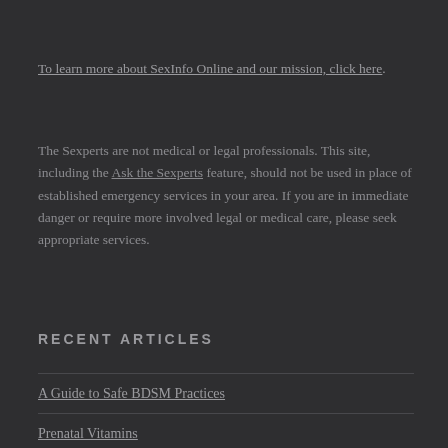To learn more about SexInfo Online and our mission, click here.
The Sexperts are not medical or legal professionals. This site, including the Ask the Sexperts feature, should not be used in place of established emergency services in your area. If you are in immediate danger or require more involved legal or medical care, please seek appropriate services.
RECENT ARTICLES
A Guide to Safe BDSM Practices
Prenatal Vitamins